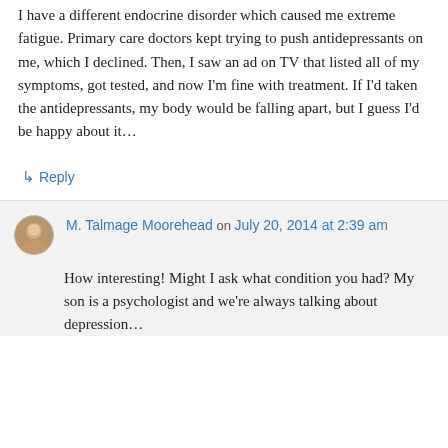I have a different endocrine disorder which caused me extreme fatigue. Primary care doctors kept trying to push antidepressants on me, which I declined. Then, I saw an ad on TV that listed all of my symptoms, got tested, and now I'm fine with treatment. If I'd taken the antidepressants, my body would be falling apart, but I guess I'd be happy about it…
↳ Reply
M. Talmage Moorehead on July 20, 2014 at 2:39 am
How interesting! Might I ask what condition you had? My son is a psychologist and we're always talking about depression…